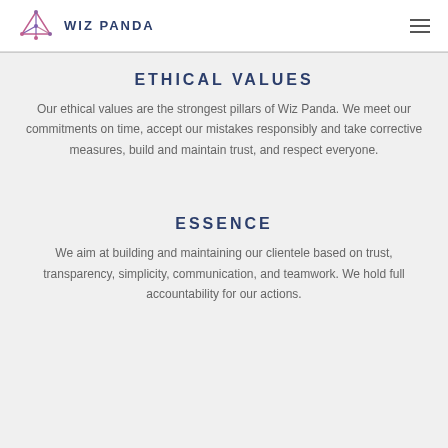WIZ PANDA
ETHICAL VALUES
Our ethical values are the strongest pillars of Wiz Panda. We meet our commitments on time, accept our mistakes responsibly and take corrective measures, build and maintain trust, and respect everyone.
ESSENCE
We aim at building and maintaining our clientele based on trust, transparency, simplicity, communication, and teamwork. We hold full accountability for our actions.